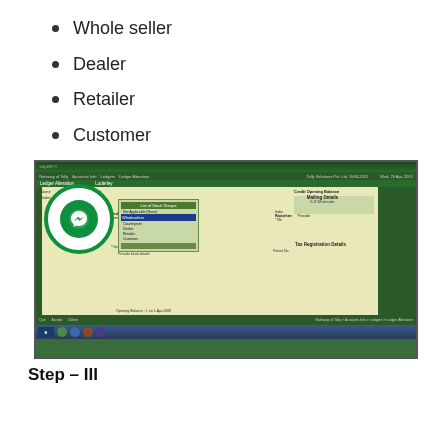Whole seller
Dealer
Retailer
Customer
[Figure (screenshot): Tally accounting software screenshot showing Ledger Alteration window with sundry debtors form, dropdown list with options including Whole seller, Dealer, Retailer, Customer, mailing details panel, and tax registration details. A Messenger app icon overlays the bottom-left of the screenshot.]
Step – III